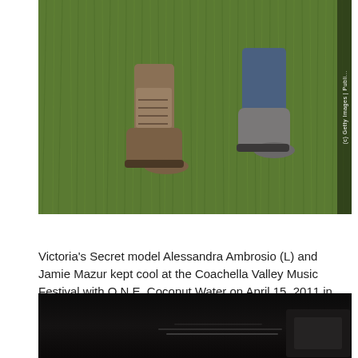[Figure (photo): Close-up photo of two people's feet and lower legs walking on green grass. One person wearing tan/khaki boots and the other wearing jeans and grey boots. Getty Images watermark on the right side.]
Victoria's Secret model Alessandra Ambrosio (L) and Jamie Mazur kept cool at the Coachella Valley Music Festival with O.N.E. Coconut Water on April 15, 2011 in Indio, California. (Photo by Frazer Harrison/Getty Images)
[Figure (photo): Dark, mostly black photo showing what appears to be a dimly lit interior scene with faint horizontal light reflections visible in the lower middle portion.]